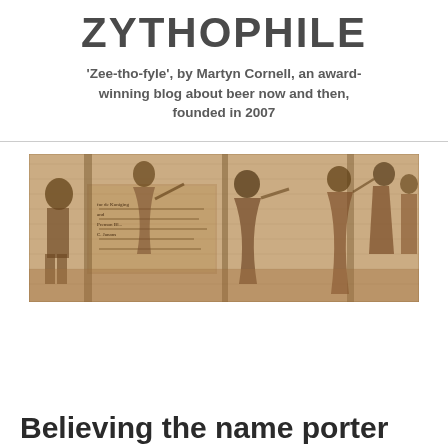ZYTHOPHILE
'Zee-tho-fyle', by Martyn Cornell, an award-winning blog about beer now and then, founded in 2007
[Figure (illustration): Historical sepia-toned engraving showing several figures in old-fashioned clothing, some appear to be carrying or near barrels, with text visible on the left side of the image]
Believing the name porter